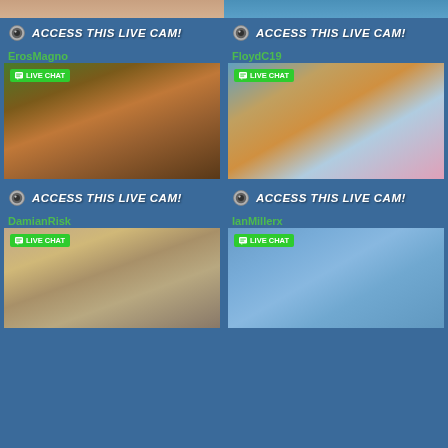[Figure (photo): Top partial photos row - two cropped photos at top]
ACCESS THIS LIVE CAM!
ACCESS THIS LIVE CAM!
ErosMagno
[Figure (photo): ErosMagno profile photo - shirtless man outdoors with LIVE CHAT badge]
FloydC19
[Figure (photo): FloydC19 profile photo - muscular man flexing with sunglasses outdoors with LIVE CHAT badge]
ACCESS THIS LIVE CAM!
ACCESS THIS LIVE CAM!
DamianRisk
[Figure (photo): DamianRisk profile photo - shirtless man at beach with LIVE CHAT badge]
IanMillerx
[Figure (photo): IanMillerx profile photo - young man near water with LIVE CHAT badge]